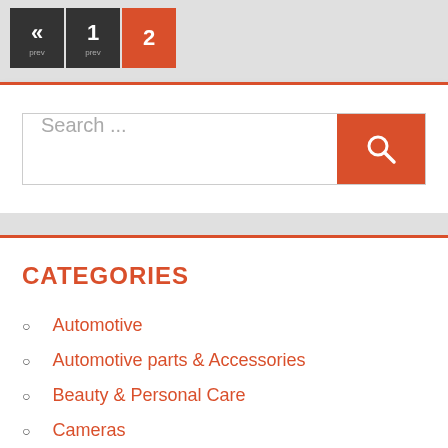« 1 2
[Figure (screenshot): Search bar widget with orange search button and magnifying glass icon]
CATEGORIES
Automotive
Automotive parts & Accessories
Beauty & Personal Care
Cameras
Computers & Accessories
Electronic
Fashions